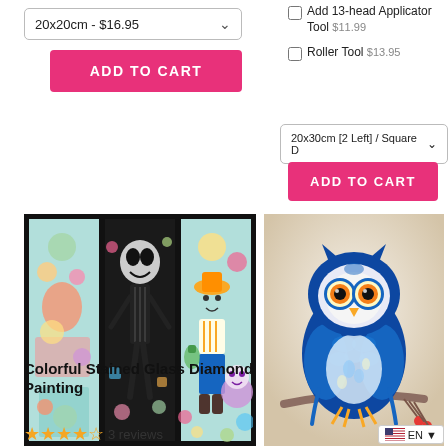20x20cm - $16.95
ADD TO CART
Add 13-head Applicator Tool $11.99
Roller Tool $13.95
20x30cm [2 Left] / Square D
ADD TO CART
[Figure (photo): Colorful stained glass diamond painting with three panels showing Disney/Pixar characters]
[Figure (photo): Blue owl diamond painting sitting on a branch with red berries]
Colorful Stained Glass Diamond Painting
3 reviews